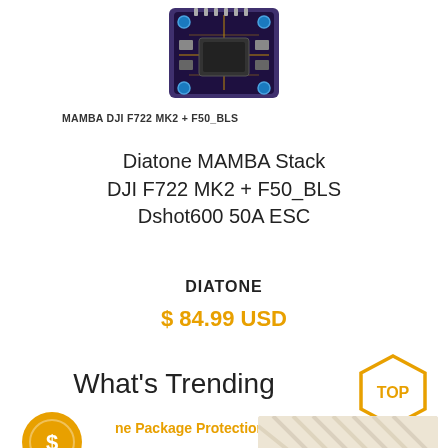[Figure (photo): MAMBA DJI F722 MK2 + F50_BLS flight controller stack PCB product photo]
MAMBA DJI F722 MK2 + F50_BLS
Diatone MAMBA Stack DJI F722 MK2 + F50_BLS Dshot600 50A ESC
DIATONE
$ 84.99 USD
What's Trending
[Figure (logo): TOP hexagon badge in gold/orange]
[Figure (logo): Shield/coin badge icon in orange]
Package Protection
[Figure (photo): Partial product image strip at bottom right]